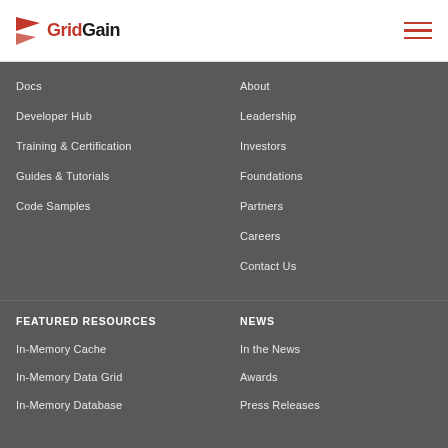GridGain [logo]
Docs
Developer Hub
Training & Certification
Guides & Tutorials
Code Samples
About
Leadership
Investors
Foundations
Partners
Careers
Contact Us
FEATURED RESOURCES
NEWS
In-Memory Cache
In-Memory Data Grid
In-Memory Database
In the News
Awards
Press Releases